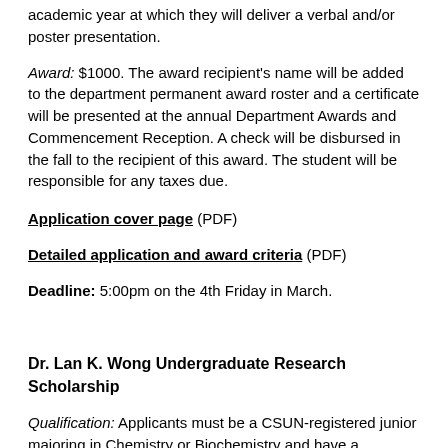academic year at which they will deliver a verbal and/or poster presentation.
Award: $1000. The award recipient's name will be added to the department permanent award roster and a certificate will be presented at the annual Department Awards and Commencement Reception. A check will be disbursed in the fall to the recipient of this award. The student will be responsible for any taxes due.
Application cover page (PDF)
Detailed application and award criteria (PDF)
Deadline: 5:00pm on the 4th Friday in March.
Dr. Lan K. Wong Undergraduate Research Scholarship
Qualification: Applicants must be a CSUN-registered junior majoring in Chemistry or Biochemistry and have a minimum 3.25 GPA. The majority of the funds are to be used by the